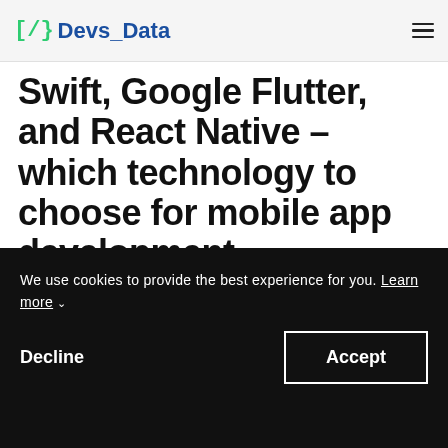[/} Devs_Data
Swift, Google Flutter, and React Native – which technology to choose for mobile app development.
tpotanski
Updated on July 12, 2020  |  25 min read  |
We use cookies to provide the best experience for you. Learn more
Decline
Accept